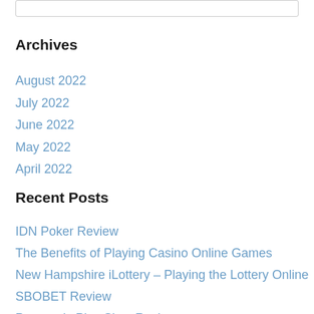Archives
August 2022
July 2022
June 2022
May 2022
April 2022
Recent Posts
IDN Poker Review
The Benefits of Playing Casino Online Games
New Hampshire iLottery – Playing the Lottery Online
SBOBET Review
Pragmatic Play Slots Review